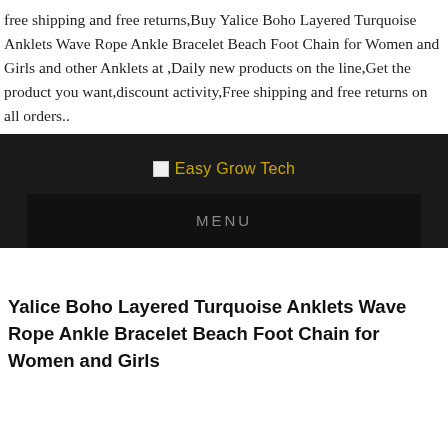free shipping and free returns,Buy Yalice Boho Layered Turquoise Anklets Wave Rope Ankle Bracelet Beach Foot Chain for Women and Girls and other Anklets at ,Daily new products on the line,Get the product you want,discount activity,Free shipping and free returns on all orders..
[Figure (logo): Dark banner with broken image placeholder and 'Easy Grow Tech' text in gold/yellow color, and a MENU bar below in dark background]
Yalice Boho Layered Turquoise Anklets Wave Rope Ankle Bracelet Beach Foot Chain for Women and Girls